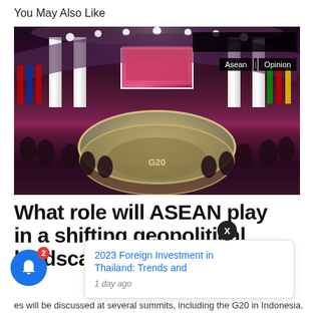You May Also Like
[Figure (photo): A large international conference venue with a circular arrangement of delegates around a round table, dramatic pink/magenta stage lighting, a projection screen at the back, and multiple flags along the sides. Tags 'Asean' and 'Opinion' visible in the top-right corner.]
What role will ASEAN play in a shifting geopolitical landscape?
es will be discussed at several summits, including the G20 in Indonesia.
[Figure (screenshot): Notification snippet card showing '2023 Foreign Investment in Thailand: Trends and' with timestamp '1 day ago', overlaid on the page with a blue notification bell icon with badge '2' and an X close button.]